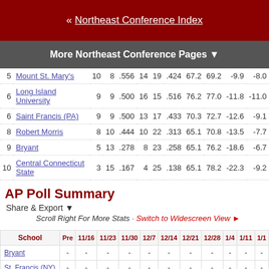« Northeast Conference Index
More Northeast Conference Pages ▼
|  | School |  |  |  |  |  |  |  |  |  |  |
| --- | --- | --- | --- | --- | --- | --- | --- | --- | --- | --- | --- |
| 5 | Mount St. Mary's | 10 | 8 | .556 | 14 | 19 | .424 | 67.2 | 69.2 | -9.9 | -8.0 |
| 6 | Long Island University | 9 | 9 | .500 | 16 | 15 | .516 | 76.2 | 77.0 | -11.8 | -11.0 |
| 6 | Saint Francis (PA) | 9 | 9 | .500 | 13 | 17 | .433 | 70.3 | 72.7 | -12.6 | -9.1 |
| 8 | Robert Morris | 8 | 10 | .444 | 10 | 22 | .313 | 65.1 | 70.8 | -13.5 | -7.7 |
| 9 | Bryant | 5 | 13 | .278 | 8 | 23 | .258 | 65.1 | 76.2 | -18.6 | -6.7 |
| 10 | Central Connecticut State | 3 | 15 | .167 | 4 | 25 | .138 | 65.1 | 78.2 | -22.3 | -9.2 |
AP Poll Summary
Share & Export ▼
Scroll Right For More Stats · Switch to Widescreen View ►
| School | Pre | 11/16 | 11/23 | 11/30 | 12/7 | 12/14 | 12/21 | 12/28 | 1/4 | 1/11 | 1/1 |
| --- | --- | --- | --- | --- | --- | --- | --- | --- | --- | --- | --- |
| Bryant | - | - | - | - | - | - | - | - | - | - | - |
| St. Francis (NY) | - | - | - | - | - | - | - | - | - | - | - |